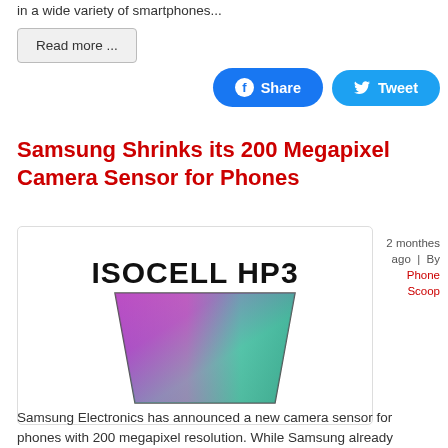in a wide variety of smartphones...
Read more ...
[Figure (screenshot): Facebook Share button and Twitter Tweet button]
Samsung Shrinks its 200 Megapixel Camera Sensor for Phones
[Figure (photo): Samsung ISOCELL HP3 camera sensor image showing a trapezoid-shaped sensor with gradient colors (purple, pink, green, teal) and text 'ISOCELL HP3' above it]
2 monthes ago | By Phone Scoop
Samsung Electronics has announced a new camera sensor for phones with 200 megapixel resolution. While Samsung already